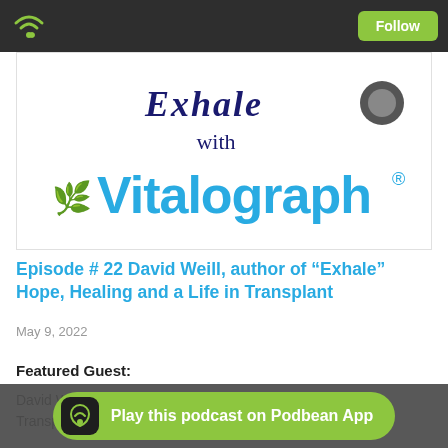Follow
[Figure (logo): Podcast logo showing 'with Vitalograph' branding with stethoscope and bird icon in blue colors]
Episode # 22 David Weill, author of “Exhale” Hope, Healing and a Life in Transplant
May 9, 2022
Featured Guest:
David Weill author of “Exhale” Hope, Healing and a Life in Transplant
Play this podcast on Podbean App